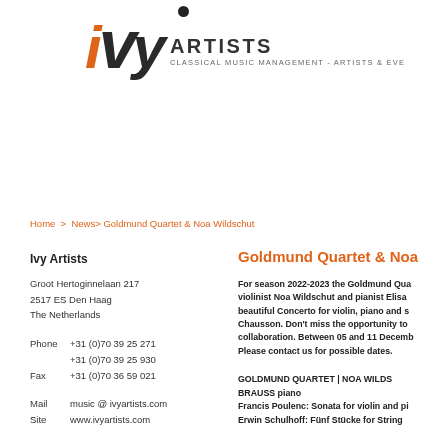[Figure (logo): Ivy Artists logo: stylized 'ivy' text in orange/dark with 'ARTISTS' and 'CLASSICAL MUSIC MANAGEMENT - ARTISTS & EVE...' tagline]
Home > News> Goldmund Quartet & Noa Wildschut
Ivy Artists
Groot Hertoginnelaan 217
2517 ES Den Haag
The Netherlands
Phone +31 (0)70 39 25 271
+31 (0)70 39 25 930
Fax +31 (0)70 36 59 021
Mail music @ ivyartists.com
Site www.ivyartists.com
Goldmund Quartet & Noa
For season 2022-2023 the Goldmund Qua... violinist Noa Wildschut and pianist Elisa... beautiful Concerto for violin, piano and s... Chausson. Don't miss the opportunity to... collaboration. Between 05 and 11 Decemb... Please contact us for possible dates.
GOLDMUND QUARTET | NOA WILDS... BRAUSS piano
Francis Poulenc: Sonata for violin and pi...
Erwin Schulhoff: Fünf Stücke for String...